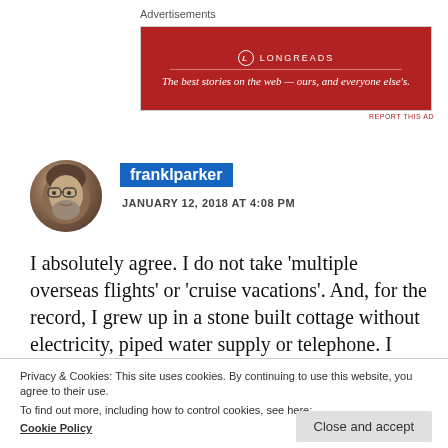Advertisements
[Figure (other): Longreads advertisement banner — red background with logo and tagline: The best stories on the web — ours, and everyone else's.]
REPORT THIS AD
[Figure (photo): Circular avatar photo of an older man with glasses and a beard]
franklparker
JANUARY 12, 2018 AT 4:08 PM
I absolutely agree. I do not take 'multiple overseas flights' or 'cruise vacations'. And, for the record, I grew up in a stone built cottage without electricity, piped water supply or telephone. I think that
Privacy & Cookies: This site uses cookies. By continuing to use this website, you agree to their use.
To find out more, including how to control cookies, see here:
Cookie Policy
Close and accept
Liked by 2 people